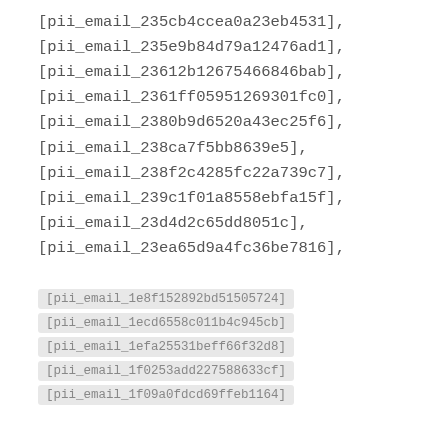[pii_email_235cb4ccea0a23eb4531],
[pii_email_235e9b84d79a12476ad1],
[pii_email_23612b12675466846bab],
[pii_email_2361ff05951269301fc0],
[pii_email_2380b9d6520a43ec25f6],
[pii_email_238ca7f5bb8639e5],
[pii_email_238f2c4285fc22a739c7],
[pii_email_239c1f01a8558ebfa15f],
[pii_email_23d4d2c65dd8051c],
[pii_email_23ea65d9a4fc36be7816],
[pii_email_1e8f152892bd51505724]
[pii_email_1ecd6558c011b4c945cb]
[pii_email_1efa25531beff66f32d8]
[pii_email_1f0253add227588633cf]
[pii_email_1f09a0fdcd69ffeb1164]